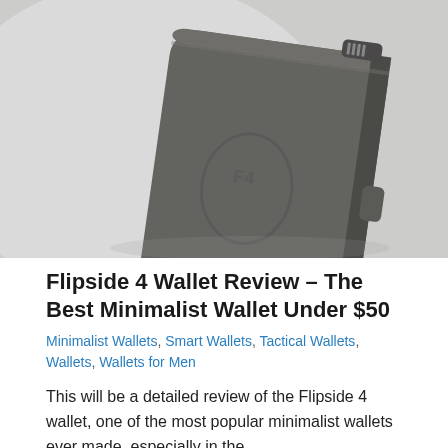[Figure (photo): Close-up product photo of a gray Flipside 4 minimalist wallet, shown at an angle on a light gray background. The wallet is hard-shelled, rectangular with rounded corners, featuring embossed branding and small side tabs/buttons.]
Flipside 4 Wallet Review – The Best Minimalist Wallet Under $50
Minimalist Wallets, Smart Wallets, Tactical Wallets, Wallets, Wallets for Men
This will be a detailed review of the Flipside 4 wallet, one of the most popular minimalist wallets ever made, especially in the